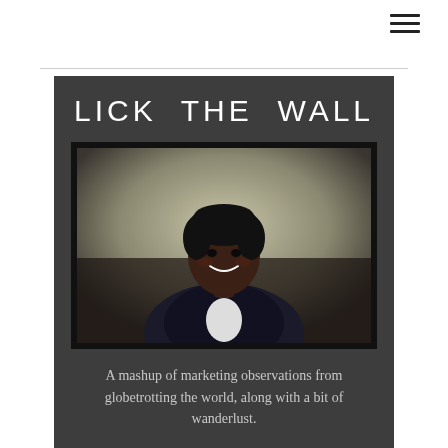≡ (hamburger menu)
LICK THE WALL
[Figure (photo): Portrait photo of a smiling Black woman with short dark hair, wearing a dark blazer and white top, photographed against a neutral beige/cream background.]
A mashup of marketing observations from globetrotting the world, along with a bit of wanderlust.